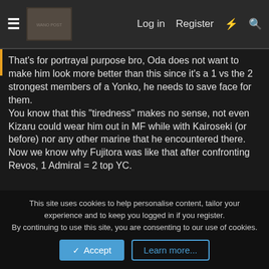≡  [logo]  Log in  Register  ⚡  🔍
That's for portrayal purpose bro, Oda does not want to make him look more better than this since it's a 1 vs the 2 strongest members of a Yonko, he needs to save face for them.
You know that this "tiredness" makes no sense, not even Kizaru could wear him out in MF while with Kairoseki (or before) nor any other marine that he encountered there.
Now we know why Fujitora was like that after confronting Revos, 1 Admiral = 2 top YC.
Gol D. Roger said: ↑
Yes, YC3 Cracker manhandled base Luffy with only one biscuit soldier.
This site uses cookies to help personalise content, tailor your experience and to keep you logged in if you register.
By continuing to use this site, you are consenting to our use of cookies.